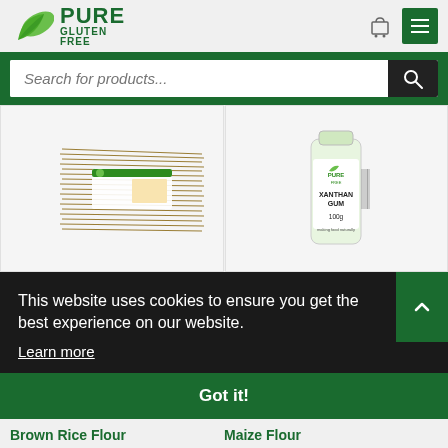[Figure (logo): Pure Gluten Free logo with green leaf icon and bold green text]
[Figure (screenshot): Search bar with placeholder 'Search for products...' on green background with dark search button]
[Figure (photo): Two product images side by side: left shows gluten free spaghetti pasta package, right shows Xanthan Gum 100g bottle]
This website uses cookies to ensure you get the best experience on our website.
Learn more
Got it!
Brown Rice Flour
Maize Flour